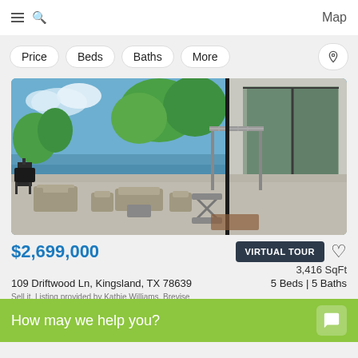Map
Price
Beds
Baths
More
[Figure (photo): Outdoor lakefront patio with wicker furniture seating sets, pergola structure, black grill smoker, large glass sliding doors, and lush green trees under partly cloudy blue sky]
$2,699,000
VIRTUAL TOUR
3,416 SqFt
109 Driftwood Ln, Kingsland, TX 78639
5 Beds | 5 Baths
How may we help you?